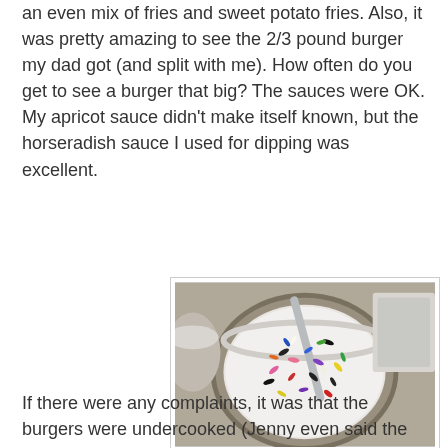an even mix of fries and sweet potato fries. Also, it was pretty amazing to see the 2/3 pound burger my dad got (and split with me). How often do you get to see a burger that big? The sauces were OK. My apricot sauce didn't make itself known, but the horseradish sauce I used for dipping was excellent.
[Figure (photo): A glass bowl containing a milkshake (birthday cake shake made with cake mix) topped with colorful sprinkles, with a spoon/straw visible inside. Photo taken from above on a light countertop.]
The birthday cake shake, made with cake mix!
If there were any complaints, it was that the burgers were undercooked (Jenny even said the center was cool) and the kids meal was an iffy value proposition--basically two sliders